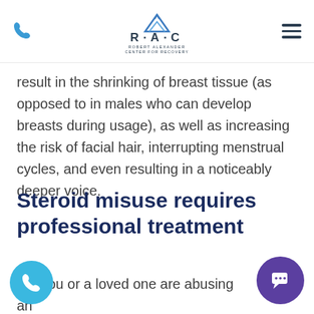RAC - Robert Alexander Center for Recovery
result in the shrinking of breast tissue (as opposed to in males who can develop breasts during usage), as well as increasing the risk of facial hair, interrupting menstrual cycles, and even resulting in a noticeably deeper voice.
Steroid misuse requires professional treatment
her you or a loved one are abusing anabolic steroids, taking proactive steps towards